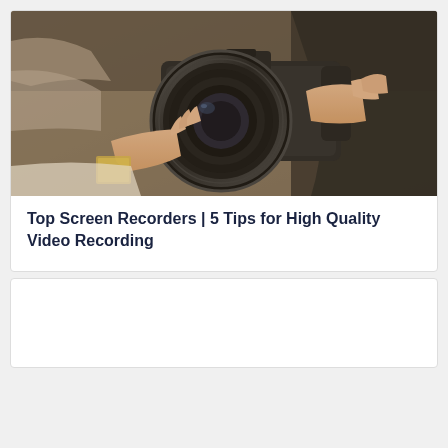[Figure (photo): Person holding a professional DSLR camera with a large lens, hands visible, dark clothing, warm toned photo]
Top Screen Recorders | 5 Tips for High Quality Video Recording
[Figure (photo): Second card, partially visible, content not shown]